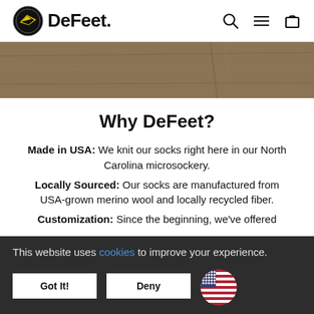DeFeet
[Figure (photo): Hero image showing a tan/brown textured background, appears to be wood or sand surface]
Why DeFeet?
Made in USA: We knit our socks right here in our North Carolina microsockery.
Locally Sourced: Our socks are manufactured from USA-grown merino wool and locally recycled fiber.
Customization: Since the beginning, we've offered
This website uses cookies to improve your experience.
Got It!
Deny